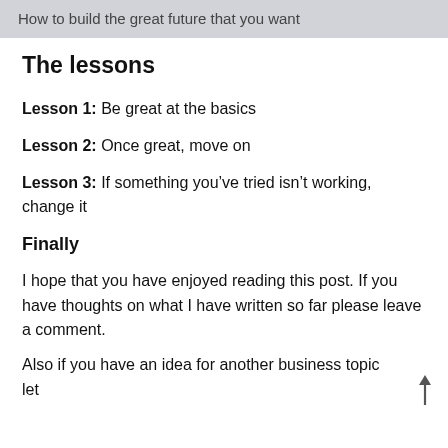How to build the great future that you want
The lessons
Lesson 1: Be great at the basics
Lesson 2: Once great, move on
Lesson 3: If something you’ve tried isn’t working, change it
Finally
I hope that you have enjoyed reading this post. If you have thoughts on what I have written so far please leave a comment.
Also if you have an idea for another business topic let